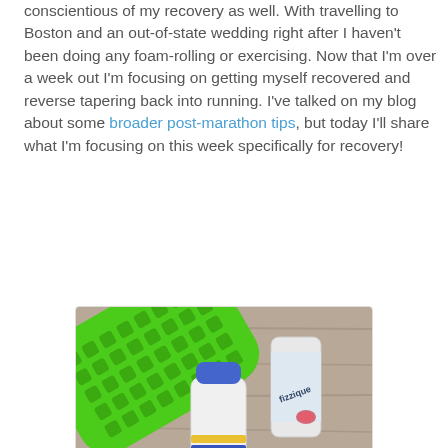conscientious of my recovery as well. With travelling to Boston and an out-of-state wedding right after I haven't been doing any foam-rolling or exercising. Now that I'm over a week out I'm focusing on getting myself recovered and reverse tapering back into running. I've talked on my blog about some broader post-marathon tips, but today I'll share what I'm focusing on this week specifically for recovery!
[Figure (photo): Photo of a bright green foam roller with a textured/knobby surface, a white sports water bottle with blue cap and yellow/blue stripe design, and a can of Fizzique sparkling water (watermelon flavor), all resting on a wooden surface.]